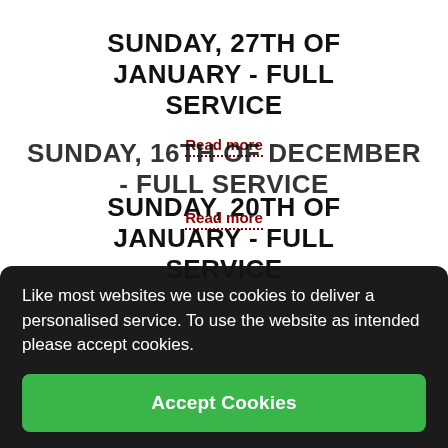SUNDAY, 27TH OF JANUARY - FULL SERVICE
Read more
SUNDAY, 20TH OF JANUARY - FULL SERVICE
Read more
SUNDAY, 16TH OF DECEMBER - FULL SERVICE
Like most websites we use cookies to deliver a personalised service. To use the website as intended please accept cookies.
Accept Cookies
Read more